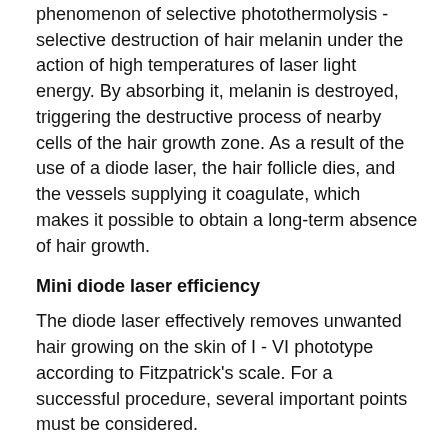The principle of operation of this device is based on the phenomenon of selective photothermolysis - selective destruction of hair melanin under the action of high temperatures of laser light energy. By absorbing it, melanin is destroyed, triggering the destructive process of nearby cells of the hair growth zone. As a result of the use of a diode laser, the hair follicle dies, and the vessels supplying it coagulate, which makes it possible to obtain a long-term absence of hair growth.
Mini diode laser efficiency
The diode laser effectively removes unwanted hair growing on the skin of I - VI phototype according to Fitzpatrick's scale. For a successful procedure, several important points must be considered.
• The brighter the contrast between skin color and hair color, the more effective the epilation: dark hair is ideally removed on light skin, and vice versa - getting rid of light hair on dark skin is quite difficult, and often almost impossible.
• It is impossible to remove completely melanin-free hair (gray).
• The light energy of the laser destroys the growth zone of the